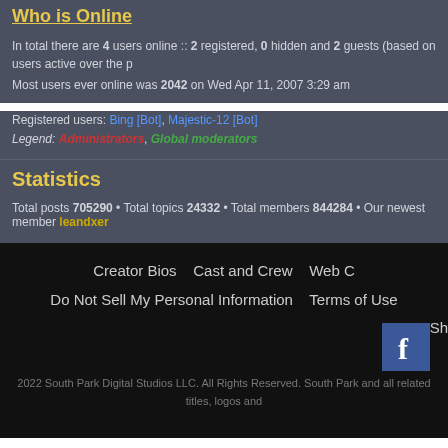Who is Online
In total there are 4 users online :: 2 registered, 0 hidden and 2 guests (based on users active over the p
Most users ever online was 2042 on Wed Apr 11, 2007 3:29 am
Registered users: Bing [Bot], Majestic-12 [Bot]
Legend: Administrators, Global moderators
Statistics
Total posts 705290 • Total topics 24332 • Total members 844284 • Our newest member leandxer
Creator Bios   Cast and Crew   Web C
Do Not Sell My Personal Information   Terms of Use
Sh
2022 South Park Digital Studios LLC. All Rights Reserved. South Park and all related titles, logos and